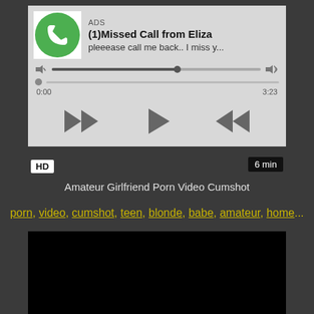[Figure (screenshot): Audio player ad showing a missed call notification from Eliza with phone icon, progress bar, volume controls, and playback controls (rewind, play, fast-forward). Shows ADS label, title '(1)Missed Call from Eliza', subtitle 'pleeease call me back.. I miss y...', time 0:00 to 3:23.]
HD
6 min
Amateur Girlfriend Porn Video Cumshot
porn, video, cumshot, teen, blonde, babe, amateur, home...
[Figure (screenshot): Black video thumbnail panel]